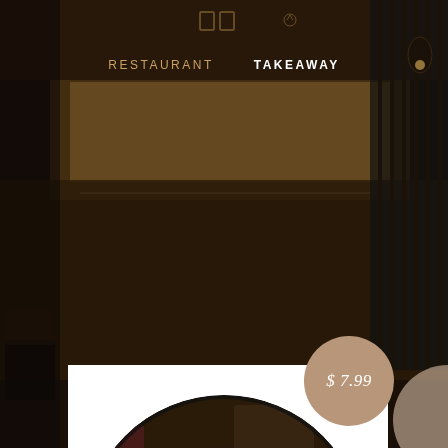[Figure (photo): Dark restaurant interior background with warm wooden tones, ceiling lights, decorative screens/dividers visible]
RESTAURANT   TAKEAWAY
[Figure (photo): Circular cropped photo of samosas (fried triangular Indian pastries) arranged in a dark bowl, viewed from above]
$ 7.99